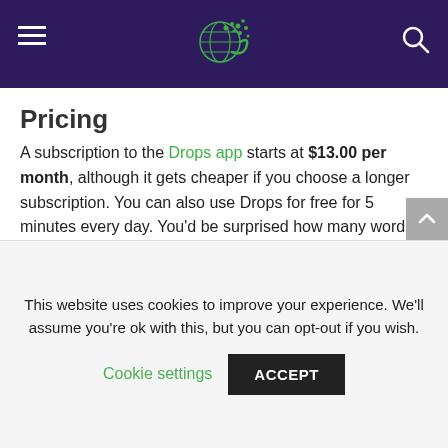Drops language learning app — navigation header
Pricing
A subscription to the Drops app starts at $13.00 per month, although it gets cheaper if you choose a longer subscription. You can also use Drops for free for 5 minutes every day. You'd be surprised how many words you can learn by studying 5 minutes each day! Give Drops a try for free to see if you like it.
Try Drops for Free
This website uses cookies to improve your experience. We'll assume you're ok with this, but you can opt-out if you wish.
Cookie settings
ACCEPT